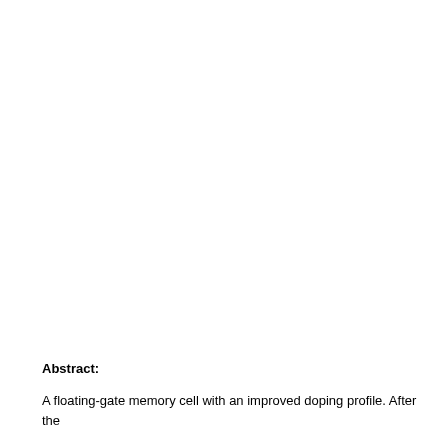Abstract:
A floating-gate memory cell with an improved doping profile. After the